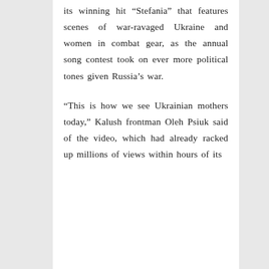its winning hit “Stefania” that features scenes of war-ravaged Ukraine and women in combat gear, as the annual song contest took on ever more political tones given Russia’s war.
“This is how we see Ukrainian mothers today,” Kalush frontman Oleh Psiuk said of the video, which had already racked up millions of views within hours of its